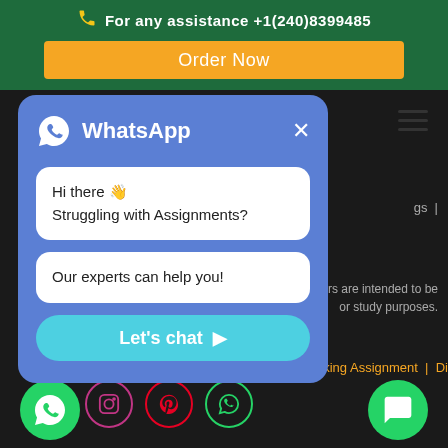For any assistance +1(240)8399485
Order Now
[Figure (screenshot): WhatsApp chat popup with messages 'Hi there 👋 Struggling with Assignments?' and 'Our experts can help you!' and a 'Let's chat ➤' button]
writers are intended to be or study purposes.
Thinking Assignment | Di
Follow Us